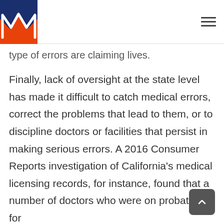type of errors are claiming lives.
Finally, lack of oversight at the state level has made it difficult to catch medical errors, correct the problems that lead to them, or to discipline doctors or facilities that persist in making serious errors. A 2016 Consumer Reports investigation of California’s medical licensing records, for instance, found that a number of doctors who were on probation for